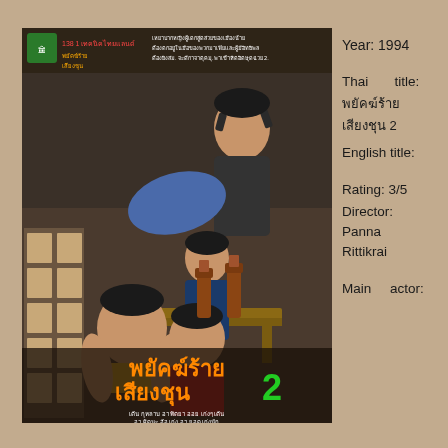[Figure (photo): Thai movie poster for 'พยัคฆ์ร้าย เสียงชุน 2' (1994) showing several people in an action/comedy scene with guns and beer bottles]
Year: 1994
Thai title: พยัคฆ์ร้ายเสียงชุน 2
English title:
Rating: 3/5
Director: Panna Rittikrai
Main actor: